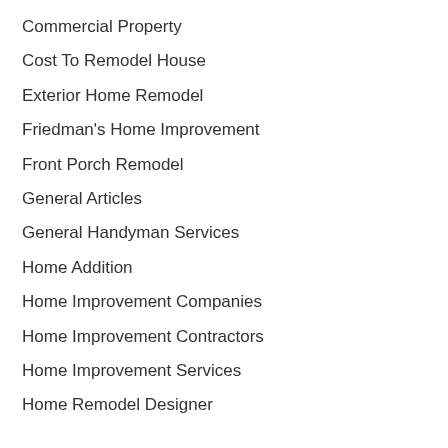Commercial Property
Cost To Remodel House
Exterior Home Remodel
Friedman's Home Improvement
Front Porch Remodel
General Articles
General Handyman Services
Home Addition
Home Improvement Companies
Home Improvement Contractors
Home Improvement Services
Home Remodel Designer